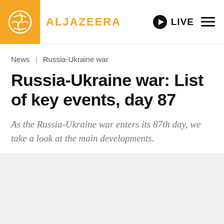ALJAZEERA | LIVE
News | Russia-Ukraine war
Russia-Ukraine war: List of key events, day 87
As the Russia-Ukraine war enters its 87th day, we take a look at the main developments.
[Figure (photo): Gray image placeholder area below the article header]